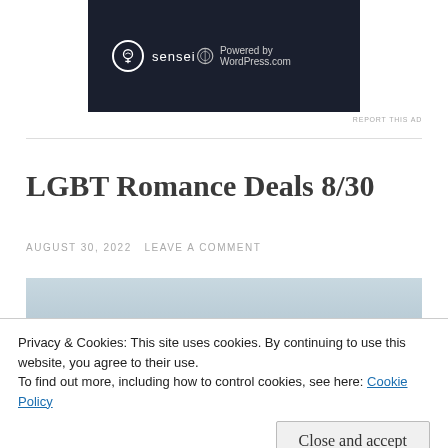[Figure (logo): Dark navy ad banner with Sensei logo (tree icon in circle) on left and 'Powered by WordPress.com' on right]
REPORT THIS AD
LGBT Romance Deals 8/30
AUGUST 30, 2022  LEAVE A COMMENT
[Figure (photo): Partial book cover image with sky background and bold text reading 'love knows no gender']
Privacy & Cookies: This site uses cookies. By continuing to use this website, you agree to their use.
To find out more, including how to control cookies, see here: Cookie Policy
Close and accept